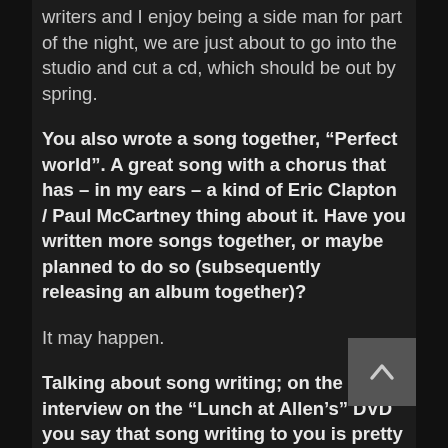writers and I enjoy being a side man for part of the night, we are just about to go into the studio and cut a cd, which should be out by spring.
You also wrote a song together, “Perfect world”. A great song with a chorus that has – in my ears – a kind of Eric Clapton / Paul McCartney thing about it. Have you written more songs together, or maybe planned to do so (subsequently releasing an album together)?
It may happen.
Talking about song writing; on the interview on the “Lunch at Allen’s” DVD you say that song writing to you is pretty much a “9 to 5” work – not in the sense that it’s like working in a factory, of